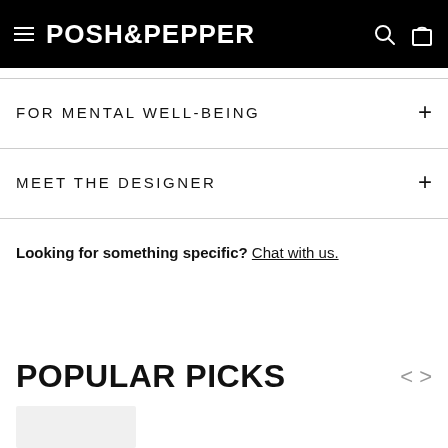POSH&PEPPER
FOR MENTAL WELL-BEING +
MEET THE DESIGNER +
Looking for something specific? Chat with us.
POPULAR PICKS